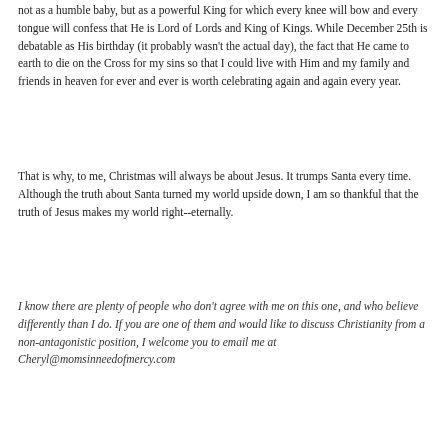not as a humble baby, but as a powerful King for which every knee will bow and every tongue will confess that He is Lord of Lords and King of Kings. While December 25th is debatable as His birthday (it probably wasn't the actual day), the fact that He came to earth to die on the Cross for my sins so that I could live with Him and my family and friends in heaven for ever and ever is worth celebrating again and again every year.
That is why, to me, Christmas will always be about Jesus. It trumps Santa every time. Although the truth about Santa turned my world upside down, I am so thankful that the truth of Jesus makes my world right--eternally.
I know there are plenty of people who don't agree with me on this one, and who believe differently than I do. If you are one of them and would like to discuss Christianity from a non-antagonistic position, I welcome you to email me at Cheryl@momsinneedofmercy.com